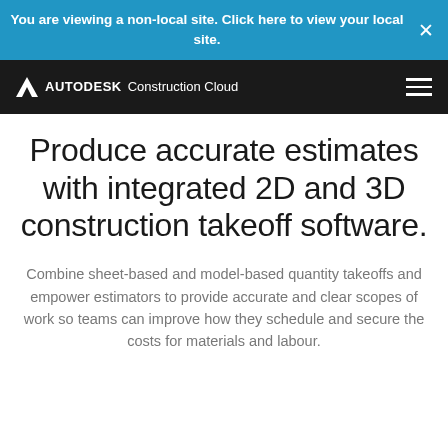You are viewing a non-local site. Click here to view your local site.
[Figure (logo): Autodesk Construction Cloud logo in white on black navigation bar with hamburger menu icon]
Produce accurate estimates with integrated 2D and 3D construction takeoff software.
Combine sheet-based and model-based quantity takeoffs and empower estimators to provide accurate and clear scopes of work so teams can improve how they schedule and secure the costs for materials and labour.